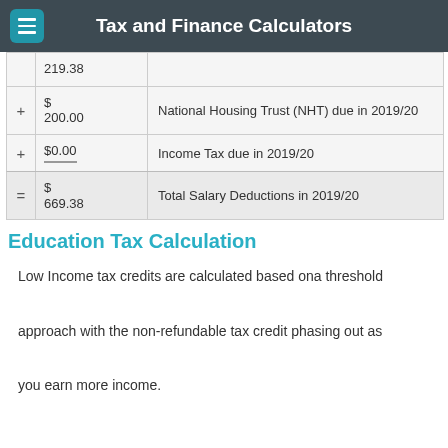Tax and Finance Calculators
| Op | Amount | Description |
| --- | --- | --- |
|  | 219.38 |  |
| + | $ 200.00 | National Housing Trust (NHT) due in 2019/20 |
| + | $0.00 | Income Tax due in 2019/20 |
| = | $ 669.38 | Total Salary Deductions in 2019/20 |
Education Tax Calculation
Low Income tax credits are calculated based ona threshold approach with the non-refundable tax credit phasing out as you earn more income.